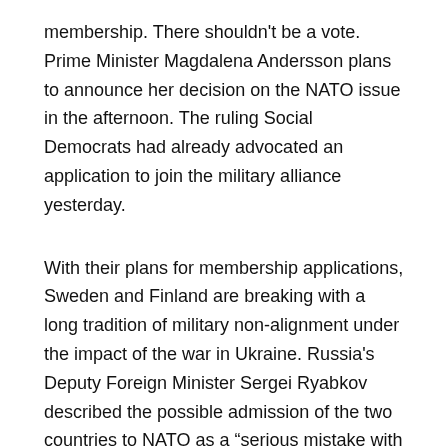membership. There shouldn't be a vote. Prime Minister Magdalena Andersson plans to announce her decision on the NATO issue in the afternoon. The ruling Social Democrats had already advocated an application to join the military alliance yesterday.
With their plans for membership applications, Sweden and Finland are breaking with a long tradition of military non-alignment under the impact of the war in Ukraine. Russia's Deputy Foreign Minister Sergei Ryabkov described the possible admission of the two countries to NATO as a “serious mistake with far-reaching consequences”.
1:22 p.m .: Kyiv reports recapture of border control near Kharkiv
The Ukrainian army has apparently gained further territory in